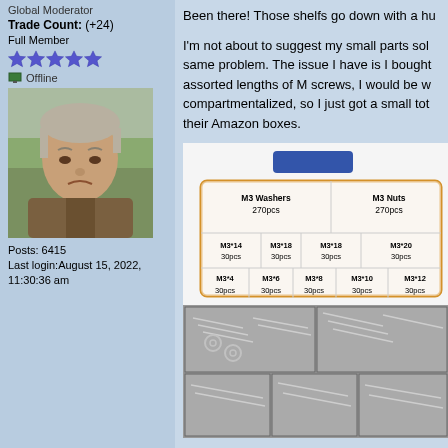Global Moderator
Trade Count: (+24)
Full Member
[Figure (illustration): Five blue star rating icons in a row]
Offline
[Figure (photo): Profile photo of an older man with gray hair outdoors, looking grumpy]
Posts: 6415
Last login: August 15, 2022, 11:30:36 am
Been there! Those shelfs go down with a hu
I'm not about to suggest my small parts sol same problem. The issue I have is I bought assorted lengths of M screws, I would be w compartmentalized, so I just got a small tot their Amazon boxes.
[Figure (table-as-image): Product diagram showing M3 screw assortment kit with labeled compartments: M3 Washers 270pcs, M3 Nuts 270pcs, and various M3 screws (M3*14 30pcs, M3*18 30pcs, M3*18 30pcs, M3*20 30pcs, M3*4 30pcs, M3*6 30pcs, M3*8 30pcs, M3*10 30pcs, M3*12 30pcs)]
[Figure (photo): Photo of actual M3 screw assortment kit contents showing screws, washers and nuts in compartments]